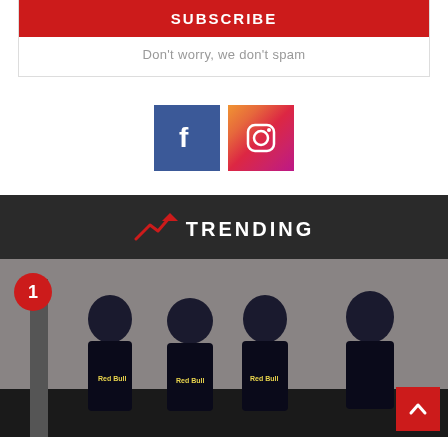SUBSCRIBE
Don't worry, we don't spam
[Figure (logo): Facebook logo square blue icon]
[Figure (logo): Instagram logo gradient icon]
TRENDING
[Figure (photo): Red Bull racing team mechanics in full race suits and helmets standing against a wall, with a red number 1 badge overlay in top left]
[Figure (other): Red scroll-to-top arrow button in bottom right]